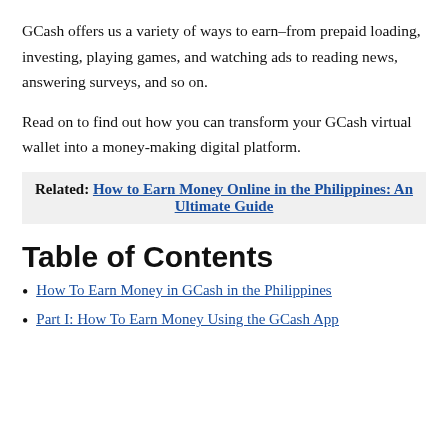GCash offers us a variety of ways to earn–from prepaid loading, investing, playing games, and watching ads to reading news, answering surveys, and so on.
Read on to find out how you can transform your GCash virtual wallet into a money-making digital platform.
Related: How to Earn Money Online in the Philippines: An Ultimate Guide
Table of Contents
How To Earn Money in GCash in the Philippines
Part I: How To Earn Money Using the GCash App